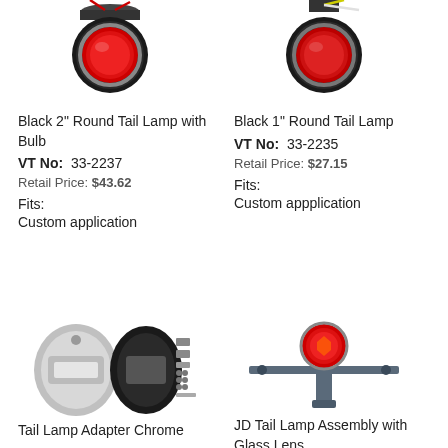[Figure (photo): Black 2 inch round tail lamp with bulb product photo]
[Figure (photo): Black 1 inch round tail lamp product photo]
Black 2" Round Tail Lamp with Bulb
VT No: 33-2237
Retail Price: $43.62
Fits:
Custom application
Black 1" Round Tail Lamp
VT No: 33-2235
Retail Price: $27.15
Fits:
Custom appplication
[Figure (photo): Tail Lamp Adapter Chrome product photo showing chrome plates and hardware]
[Figure (photo): JD Tail Lamp Assembly with Glass Lens product photo]
Tail Lamp Adapter Chrome
JD Tail Lamp Assembly with Glass Lens